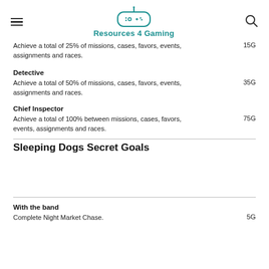Resources 4 Gaming
Achieve a total of 25% of missions, cases, favors, events, assignments and races.  15G
Detective
Achieve a total of 50% of missions, cases, favors, events, assignments and races.  35G
Chief Inspector
Achieve a total of 100% between missions, cases, favors, events, assignments and races.  75G
Sleeping Dogs Secret Goals
With the band
Complete Night Market Chase.  5G